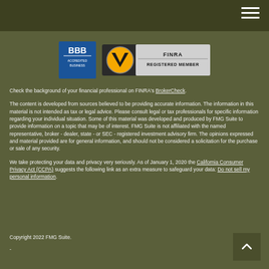[Figure (logo): BBB Accredited Business badge and FINRA Registered Member badge]
Check the background of your financial professional on FINRA's BrokerCheck.
The content is developed from sources believed to be providing accurate information. The information in this material is not intended as tax or legal advice. Please consult legal or tax professionals for specific information regarding your individual situation. Some of this material was developed and produced by FMG Suite to provide information on a topic that may be of interest. FMG Suite is not affiliated with the named representative, broker - dealer, state - or SEC - registered investment advisory firm. The opinions expressed and material provided are for general information, and should not be considered a solicitation for the purchase or sale of any security.
We take protecting your data and privacy very seriously. As of January 1, 2020 the California Consumer Privacy Act (CCPA) suggests the following link as an extra measure to safeguard your data: Do not sell my personal information.
Copyright 2022 FMG Suite.
-